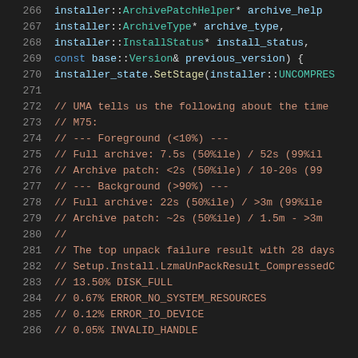[Figure (screenshot): Source code editor showing C++ code lines 266-286 with syntax highlighting on dark background. Lines feature installer namespace types in teal, comments in red/orange, keywords in blue, and identifiers in light blue.]